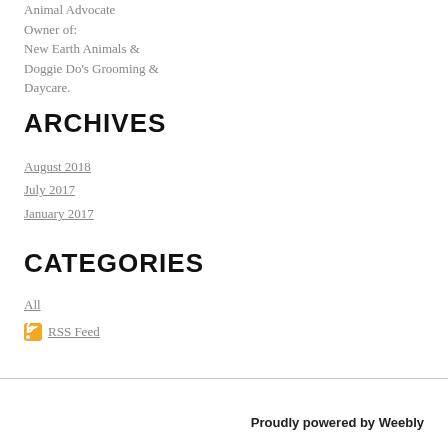Animal Advocate
Owner of:
New Earth Animals & Doggie Do's Grooming & Daycare.
ARCHIVES
August 2018
July 2017
January 2017
CATEGORIES
All
RSS Feed
Proudly powered by Weebly